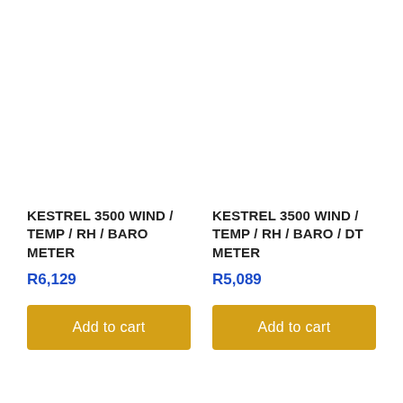KESTREL 3500 WIND / TEMP / RH / BARO METER
R6,129
KESTREL 3500 WIND / TEMP / RH / BARO / DT METER
R5,089